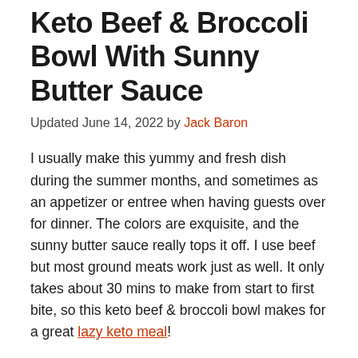Keto Beef & Broccoli Bowl With Sunny Butter Sauce
Updated June 14, 2022 by Jack Baron
I usually make this yummy and fresh dish during the summer months, and sometimes as an appetizer or entree when having guests over for dinner. The colors are exquisite, and the sunny butter sauce really tops it off. I use beef but most ground meats work just as well. It only takes about 30 mins to make from start to first bite, so this keto beef & broccoli bowl makes for a great lazy keto meal!
What Substitutions Can You